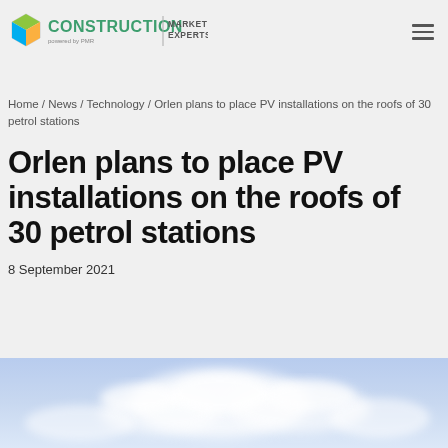CONSTRUCTION MARKET EXPERTS powered by PMR
Home / News / Technology / Orlen plans to place PV installations on the roofs of 30 petrol stations
Orlen plans to place PV installations on the roofs of 30 petrol stations
8 September 2021
[Figure (photo): Sky with clouds, blue tones, blurred background photo at bottom of page]